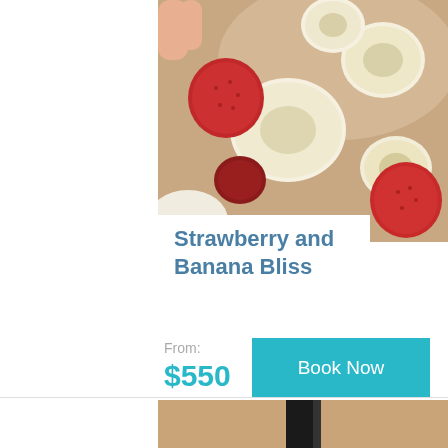[Figure (photo): Close-up photo of fresh fruit salad with strawberries, banana slices and raspberries in a white bowl]
Strawberry and Banana Bliss
Totally berrylicious, made with fresh strawberries, semi-skimmed milk and a dash of honey
From: $550
[Figure (photo): Partial image of another product at the bottom of the page]